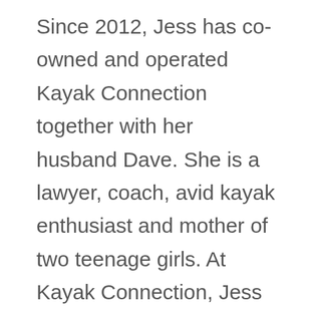Since 2012, Jess has co-owned and operated Kayak Connection together with her husband Dave. She is a lawyer, coach, avid kayak enthusiast and mother of two teenage girls. At Kayak Connection, Jess oversees a team of experienced kayak guides who are all CPR certified, with many holding advanced Wilderness First Responder (WFR) certifications. Our team is composed of environmental educators, naturalists and classroom teachers with